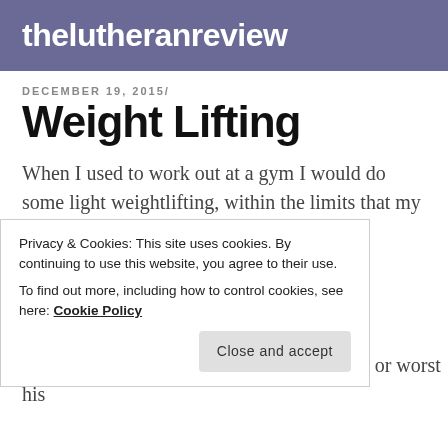thelutheranreview
DECEMBER 19, 2015/
Weight Lifting
When I used to work out at a gym I would do some light weightlifting, within the limits that my heart allowed.  It
Privacy & Cookies: This site uses cookies. By continuing to use this website, you agree to their use.
To find out more, including how to control cookies, see here: Cookie Policy
Close and accept
to keep the weight from falling on his chest or worst his